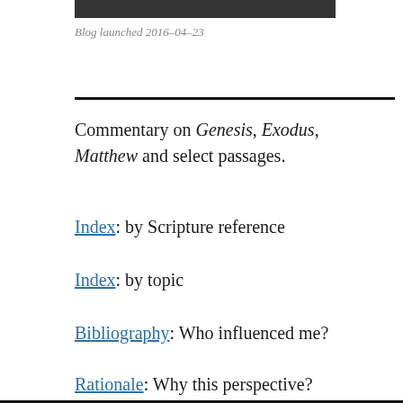[Figure (photo): Partial cropped photo at top of page, dark image]
Blog launched 2016-04-23
Commentary on Genesis, Exodus, Matthew and select passages.
Index: by Scripture reference
Index: by topic
Bibliography: Who influenced me?
Rationale: Why this perspective?